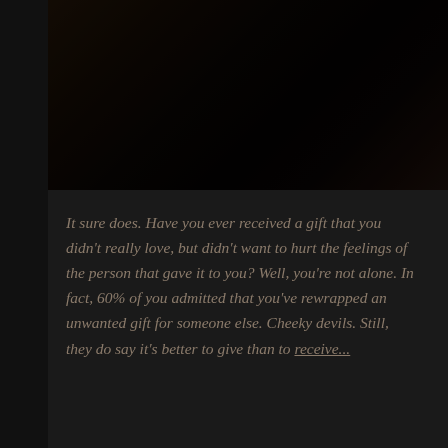[Figure (photo): Dark, dimly lit photo of people, very dark tones with brownish-black shadows, appears to be a social or indoor scene.]
It sure does. Have you ever received a gift that you didn't really love, but didn't want to hurt the feelings of the person that gave it to you? Well, you're not alone. In fact, 60% of you admitted that you've rewrapped an unwanted gift for someone else. Cheeky devils. Still, they do say it's better to give than to receive...